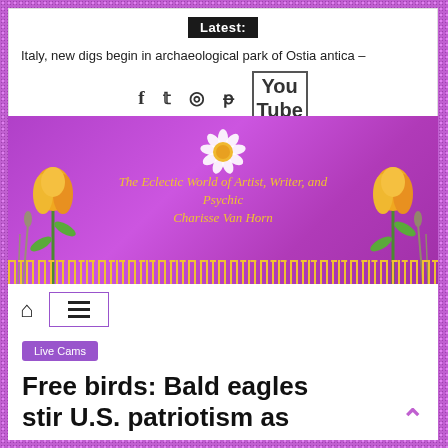Latest: Italy, new digs begin in archaeological park of Ostia antica –
[Figure (illustration): Purple banner with tulips on left and right, daisy flower in center top, and gold italic cursive text reading 'The Eclectic World of Artist, Writer, and Psychic Charisse Van Horn']
🏠 ≡ (navigation icons)
Live Cams
Free birds: Bald eagles stir U.S. patriotism as